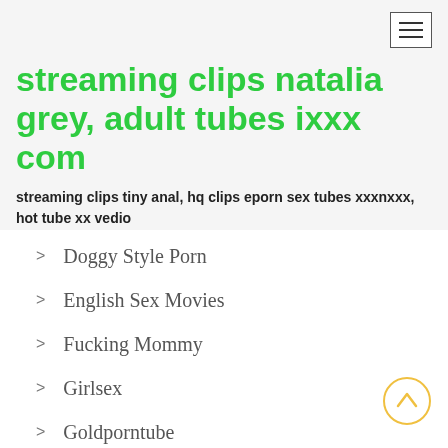streaming clips natalia grey, adult tubes ixxx com
streaming clips tiny anal, hq clips eporn sex tubes xxxnxxx, hot tube xx vedio
Doggy Style Porn
English Sex Movies
Fucking Mommy
Girlsex
Goldporntube
Gonzoxxxmovies
Hclips